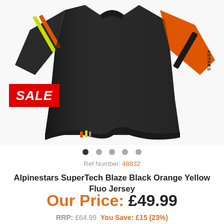[Figure (photo): Alpinestars SuperTech jersey in black, orange, and yellow fluo colorway, shown on a flat lay or mannequin, with orange sleeve visible on the right and yellow/orange stripe detail on the left sleeve.]
SALE
Ref Number: 48832
Alpinestars SuperTech Blaze Black Orange Yellow Fluo Jersey
Our Price: £49.99
RRP: £64.99  You Save: £15 (23%)